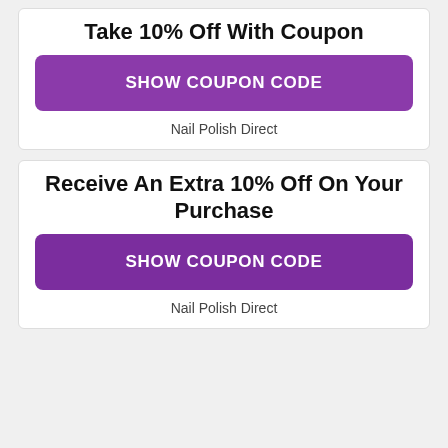Take 10% Off With Coupon
SHOW COUPON CODE
Nail Polish Direct
Receive An Extra 10% Off On Your Purchase
SHOW COUPON CODE
Nail Polish Direct